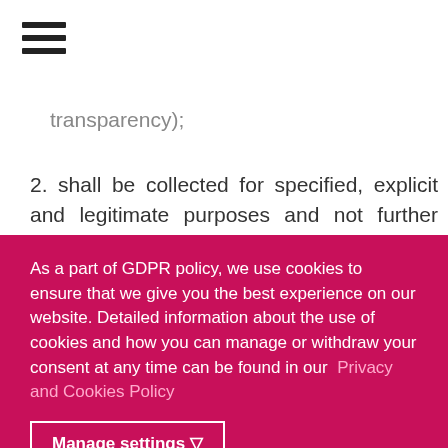[Figure (other): Hamburger menu icon (three horizontal lines)]
transparency);
2. shall be collected for specified, explicit and legitimate purposes and not further processed
As a part of GDPR policy, we use cookies to ensure that we give you the best experience on our website. Detailed information about the use of cookies and how you can manage or withdraw your consent at any time can be found in our Privacy and Cookies Policy
Manage settings ▽
Decline
Accept